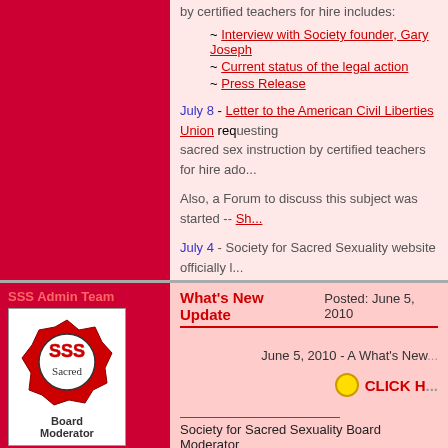~ Interview with Society founder, Gary Joseph
~ Current status of the legal action
~ Press Release
July 8 - Letter to the American Civil Liberties Union requesting sacred sex instruction by certified teachers for hire add...
Also, a Forum to discuss this subject was started -- Sh...
July 4 - Society for Sacred Sexuality website officially launched. Founding Documents posted.
SSS Admin Team
[Figure (logo): SSS Board Moderator avatar with SSS logo and text Board Moderator]
Joined: 28 Jun 2004
Posts: 60
Location: Sacred Sex Learning Center
What's New Update    Posted: June 5, 2010
June 5, 2010 - A What's New...
CLICK H...
Society for Sacred Sexuality Board Moderator